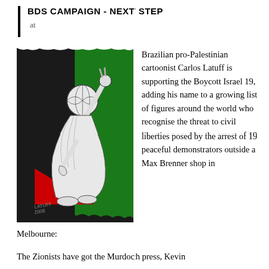BDS CAMPAIGN - NEXT STEP
at
[Figure (illustration): Black and white cartoon illustration by Latuff (2008) showing a figure with a globe for a head, wearing a keffiyeh, raising one arm with a peace sign, standing in front of a Palestinian flag background (black, white, green with red triangle).]
Brazilian pro-Palestinian cartoonist Carlos Latuff is supporting the Boycott Israel 19, adding his name to a growing list of figures around the world who recognise the threat to civil liberties posed by the arrest of 19 peaceful demonstrators outside a Max Brenner shop in Melbourne:
The Zionists have got the Murdoch press, Kevin